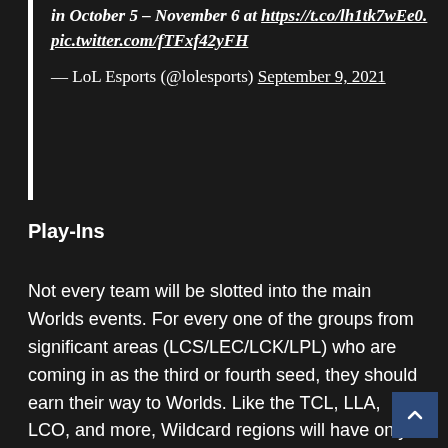in October 5 – November 6 at https://t.co/lh1tk7wEe0. pic.twitter.com/fTFxf42yFH

— LoL Esports (@lolesports) September 9, 2021
Play-Ins
Not every team will be slotted into the main Worlds events. For every one of the groups from significant areas (LCS/LEC/LCK/LPL) who are coming in as the third or fourth seed, they should earn their way to Worlds. Like the TCL, LLA, LCO, and more, Wildcard regions will have only one spot and begin in the play-ins. These teams will be set in two brackets of five, where